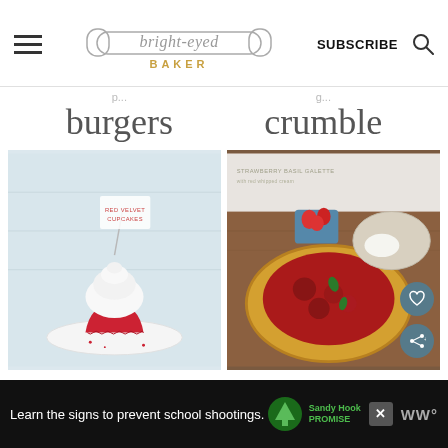[Figure (screenshot): Bright-Eyed Baker website header with hamburger menu, logo, SUBSCRIBE text, and search icon]
burgers
crumble
[Figure (photo): Red velvet cupcake with white frosting on a white plate, with a flag pick reading RED VELVET CUPCAKES]
[Figure (photo): Strawberry basil galette with red whipped cream, strawberries in a blue basket, and a bowl of cream on a wooden table]
[Figure (photo): Advertisement banner: Learn the signs to prevent school shootings. Sandy Hook Promise logo and WW logo]